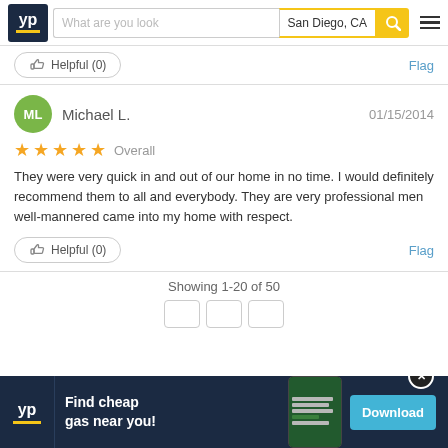YP.com header with search: What are you look... | San Diego, CA
Helpful (0)   Flag
Michael L.   01/15/2014
★★★★★ Overall
They were very quick in and out of our home in no time. I would definitely recommend them to all and everybody. They are very professional men well-mannered came into my home with respect.
Helpful (0)   Flag
Showing 1-20 of 50
[Figure (screenshot): YP app advertisement banner: Find cheap gas near you! Download button]
Showing 1-20 of 50